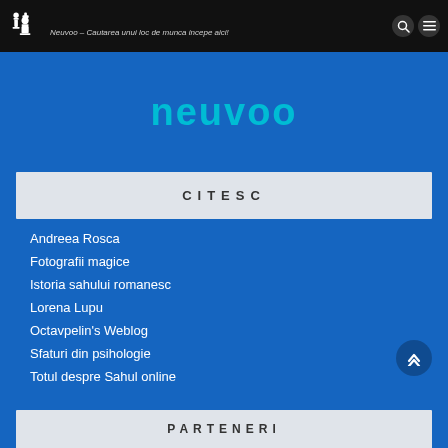Neuvoo – Cautarea unui loc de munca incepe aici!
[Figure (logo): Neuvoo cyan logo text on blue background]
CITESC
Andreea Rosca
Fotografii magice
Istoria sahului romanesc
Lorena Lupu
Octavpelin's Weblog
Sfaturi din psihologie
Totul despre Sahul online
PARTENERI